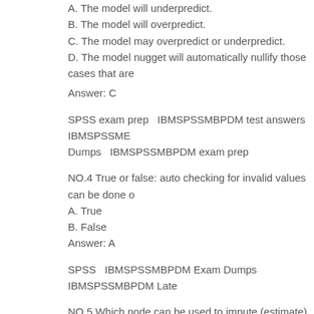A. The model will underpredict.
B. The model will overpredict.
C. The model may overpredict or underpredict.
D. The model nugget will automatically nullify those cases that are
Answer: C
SPSS exam prep   IBMSPSSMBPDM test answers   IBMSPSSME Dumps   IBMSPSSMBPDM exam prep
NO.4 True or false: auto checking for invalid values can be done o
A. True
B. False
Answer: A
SPSS   IBMSPSSMBPDM Exam Dumps   IBMSPSSMBPDM Late
NO.5 Which node can be used to impute (estimate) missing value
A. Data Audit node
B. Balance node